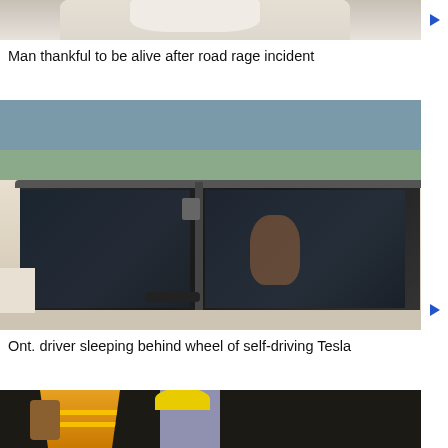[Figure (photo): Top portion of a photo showing a person in light-colored clothing, partially cropped]
Man thankful to be alive after road rage incident
[Figure (photo): A beige/tan Tesla vehicle on a highway, passenger side view showing the interior with a driver visible through the window, taken from another vehicle]
Ont. driver sleeping behind wheel of self-driving Tesla
[Figure (photo): Workers in safety vests (yellow/orange high-visibility) and hard hats working at night, partially visible at bottom of page]